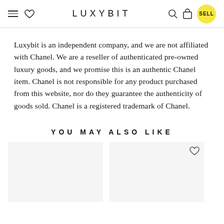LUXYBIT
Luxybit is an independent company, and we are not affiliated with Chanel. We are a reseller of authenticated pre-owned luxury goods, and we promise this is an authentic Chanel item. Chanel is not responsible for any product purchased from this website, nor do they guarantee the authenticity of goods sold. Chanel is a registered trademark of Chanel.
YOU MAY ALSO LIKE